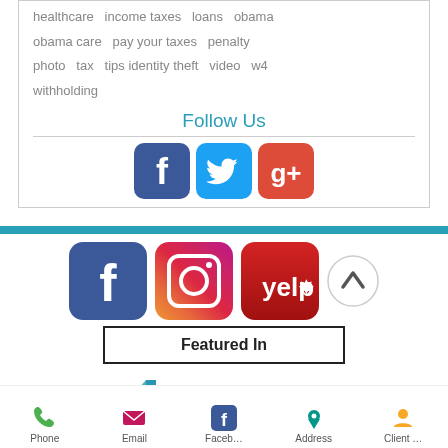healthcare  income taxes  loans  obama  obama care  pay your taxes  penalty  photo  tax  tips identity theft  video  w4  withholding
Follow Us
[Figure (infographic): Social media icons row: Facebook (dark blue), Twitter (light blue), Google+ (red)]
[Figure (infographic): Social media icons: Facebook (blue), Instagram (gradient), Yelp (red), and up-arrow circle button]
[Figure (infographic): Featured In box with Milken Center for Advancing the American Dream logo]
[Figure (infographic): Bottom navigation bar with Phone, Email, Facebook, Address, Client icons]